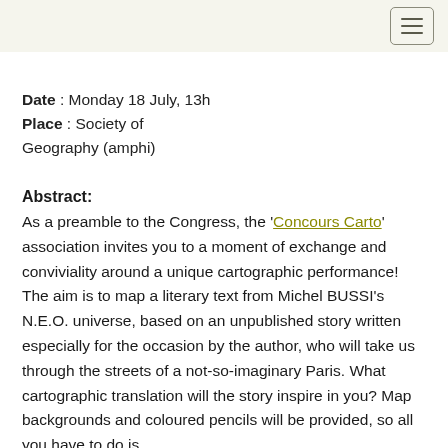[navigation menu button]
Date : Monday 18 July, 13h
Place : Society of Geography (amphi)
Abstract:
As a preamble to the Congress, the 'Concours Carto' association invites you to a moment of exchange and conviviality around a unique cartographic performance! The aim is to map a literary text from Michel BUSSI's N.E.O. universe, based on an unpublished story written especially for the occasion by the author, who will take us through the streets of a not-so-imaginary Paris. What cartographic translation will the story inspire in you? Map backgrounds and coloured pencils will be provided, so all you have to do is